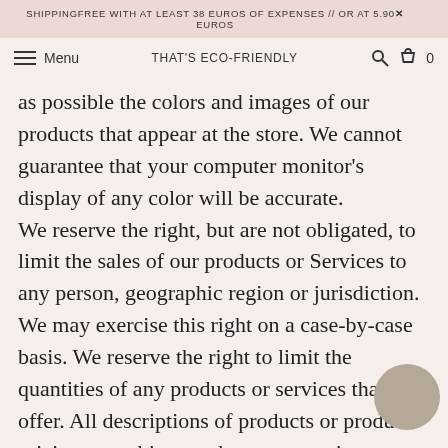SHIPPINGFREE WITH AT LEAST 38 EUROS OF EXPENSES // OR AT 5.90 EUROS
Menu   THAT'S ECO-FRIENDLY   0
as possible the colors and images of our products that appear at the store. We cannot guarantee that your computer monitor's display of any color will be accurate. We reserve the right, but are not obligated, to limit the sales of our products or Services to any person, geographic region or jurisdiction. We may exercise this right on a case-by-case basis. We reserve the right to limit the quantities of any products or services that we offer. All descriptions of products or product pricing are subject to change at anytime without notice, at the sole discretion of us. We reserve the right to discontinue any product at any time. Any offer for any product or service made on